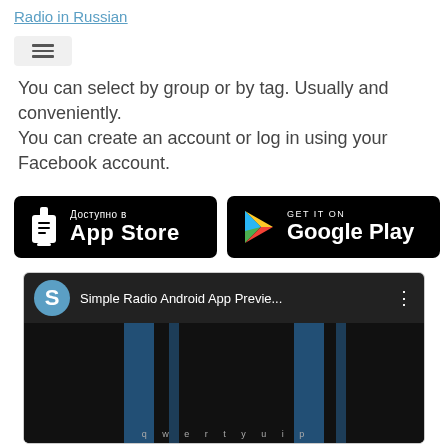Radio in Russian
[Figure (screenshot): Hamburger menu button icon]
You can select by group or by tag. Usually and conveniently.
You can create an account or log in using your Facebook account.
[Figure (other): App Store badge (Russian): Доступно в App Store]
[Figure (other): Google Play badge: GET IT ON Google Play]
[Figure (screenshot): YouTube video embed: Simple Radio Android App Previe... with YouTube play button]